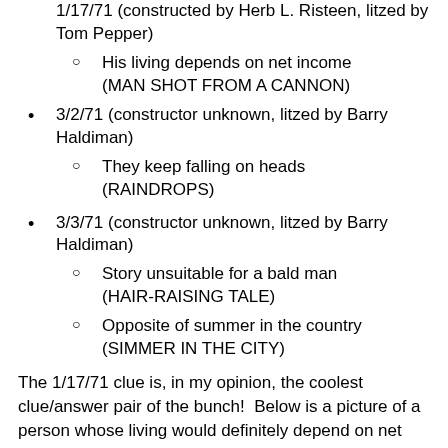1/17/71 (constructed by Herb L. Risteen, litzed by Tom Pepper)
His living depends on net income (MAN SHOT FROM A CANNON)
3/2/71 (constructor unknown, litzed by Barry Haldiman)
They keep falling on heads (RAINDROPS)
3/3/71 (constructor unknown, litzed by Barry Haldiman)
Story unsuitable for a bald man (HAIR-RAISING TALE)
Opposite of summer in the country (SIMMER IN THE CITY)
The 1/17/71 clue is, in my opinion, the coolest clue/answer pair of the bunch!  Below is a picture of a person whose living would definitely depend on net income:
[Figure (photo): Partial photo of a person outdoors, cropped at bottom of page]